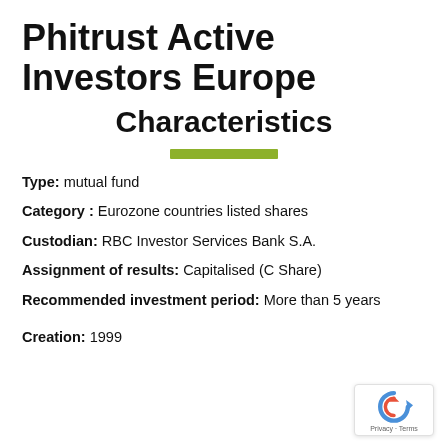Phitrust Active Investors Europe
Characteristics
Type: mutual fund
Category : Eurozone countries listed shares
Custodian: RBC Investor Services Bank S.A.
Assignment of results: Capitalised (C Share)
Recommended investment period: More than 5 years
Creation: 1999
[Figure (logo): reCAPTCHA badge with Privacy and Terms text]